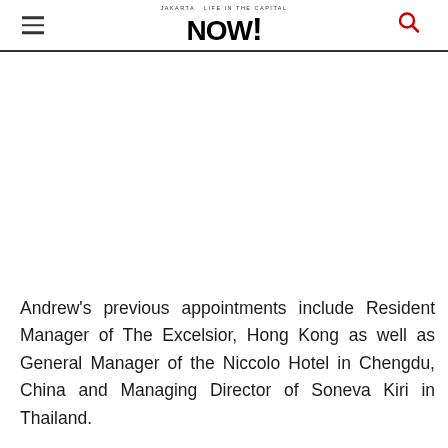JAKARTA NOW! Life in the capital — header with hamburger menu and search icon
Andrew's previous appointments include Resident Manager of The Excelsior, Hong Kong as well as General Manager of the Niccolo Hotel in Chengdu, China and Managing Director of Soneva Kiri in Thailand.